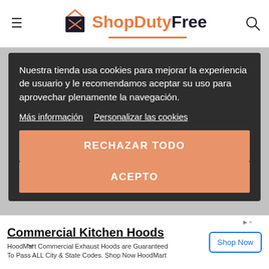[Figure (logo): ShopDutyFree logo with shopping bag icon, orange and dark text, orange underline]
Nuestra tienda usa cookies para mejorar la experiencia de usuario y le recomendamos aceptar su uso para aprovechar plenamente la navegación.
Más información  Personalizar las cookies
RECHAZAR TODO
ACEPTO
Commercial Kitchen Hoods
HoodMart Commercial Exhaust Hoods are Guaranteed To Pass ALL City & State Codes. Shop Now HoodMart